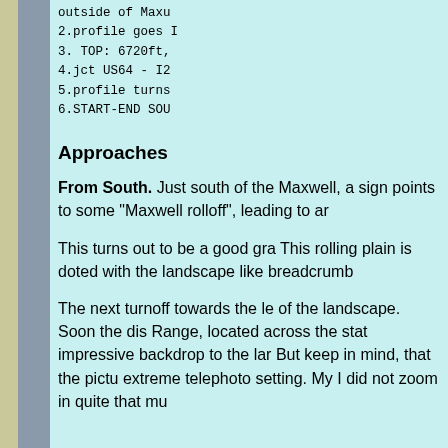outside of Maxu
2.profile goes 
3. TOP: 6720ft,
4.jct US64 - I2
5.profile turns
6.START-END SOU
Approaches
From South. Just south of the Maxwell, a sign points to some "Maxwell rolloff", leading to a
This turns out to be a good gra This rolling plain is doted with the landscape like breadcrumb
The next turnoff towards the le of the landscape. Soon the dis Range, located across the stat impressive backdrop to the lar But keep in mind, that the pict extreme telephoto setting. My I did not zoom in quite that mu